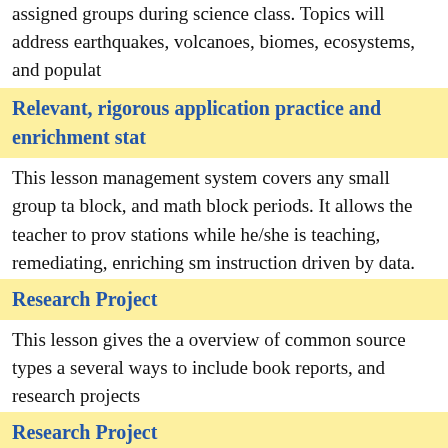assigned groups during science class. Topics will address earthquakes, volcanoes, biomes, ecosystems, and populations
Relevant, rigorous application practice and enrichment stations
This lesson management system covers any small group tasks during science block, and math block periods. It allows the teacher to provide students with stations while he/she is teaching, remediating, enriching small groups, providing instruction driven by data.
Research Project
This lesson gives the a overview of common source types and includes several ways to include book reports, and research projects
Research Project
This is a lesson that incorporates a research project and allows students to project.
River Reflections
Students have been conducting river studies for over five years. This experience is necessary for true learning. Writing advocacy reflects on the experience.